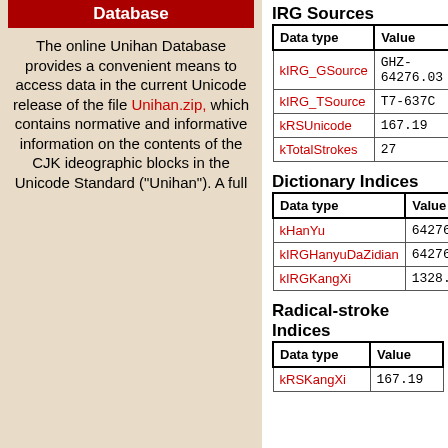Database
The online Unihan Database provides a convenient means to access data in the current Unicode release of the file Unihan.zip, which contains normative and informative information on the contents of the CJK ideographic blocks in the Unicode Standard ("Unihan"). A full
IRG Sources
| Data type | Value |
| --- | --- |
| kIRG_GSource | GHZ-64276.03 |
| kIRG_TSource | T7-637C |
| kRSUnicode | 167.19 |
| kTotalStrokes | 27 |
Dictionary Indices
| Data type | Value |
| --- | --- |
| kHanYu | 64276.030 |
| kIRGHanyuDaZidian | 64276.030 |
| kIRGKangXi | 1328.021 |
Radical-stroke Indices
| Data type | Value |
| --- | --- |
| kRSKangXi | 167.19 |